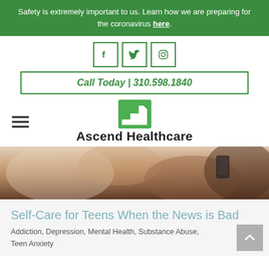Safety is extremely important to us. Learn how we are preparing for the coronavirus here.
[Figure (logo): Social media icons: Facebook (f), Twitter (bird), Instagram (camera) in green square borders]
Call Today | 310.598.1840
[Figure (logo): Ascend Healthcare logo with green staircase/steps icon and text 'Ascend Healthcare']
[Figure (photo): Close-up photo of a person holding a phone, blurred background]
Self-Care for Teens When the News is Bad
Addiction, Depression, Mental Health, Substance Abuse, Teen Anxiety